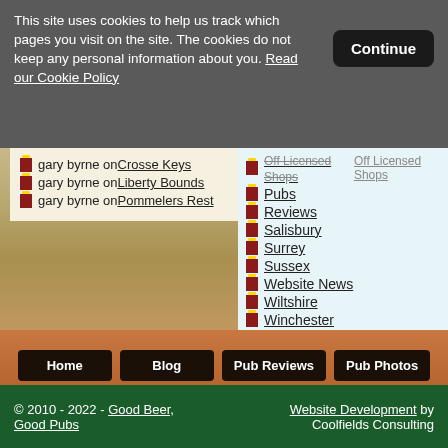This site uses cookies to help us track which pages you visit on the site. The cookies do not keep any personal information about you. Read our Cookie Policy
Continue
gary byrne on Crosse Keys
gary byrne on Liberty Bounds
gary byrne on Pommelers Rest
Off Licensed Shops
Pubs
Reviews
Salisbury
Surrey
Sussex
Website News
Wiltshire
Winchester
Home
Blog
Pub Reviews
Pub Photos
Beer Festivals
Articles
Subscribe
Sitemap
© 2010 - 2022 - Good Beer, Good Pubs   Website Development by Coolfields Consulting